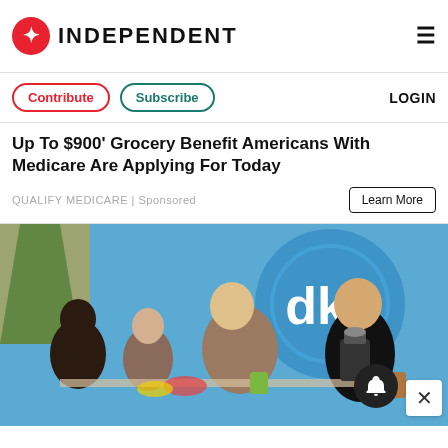INDEPENDENT
Contribute  Subscribe  LOGIN
Up To $900' Grocery Benefit Americans With Medicare Are Applying For Today
QUALIFY MEDICARE | Sponsored
[Figure (photo): TV show cooking segment with four women around a kitchen counter with blender and food items, blue 'dka' branded backdrop in background]